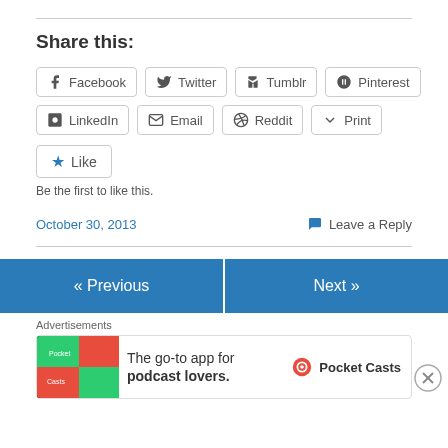Share this:
Facebook | Twitter | Tumblr | Pinterest | LinkedIn | Email | Reddit | Print
Like
Be the first to like this.
October 30, 2013
Leave a Reply
« Previous
Next »
Advertisements
[Figure (screenshot): Pocket Casts advertisement: 'The go-to app for podcast lovers.' with app logo imagery]